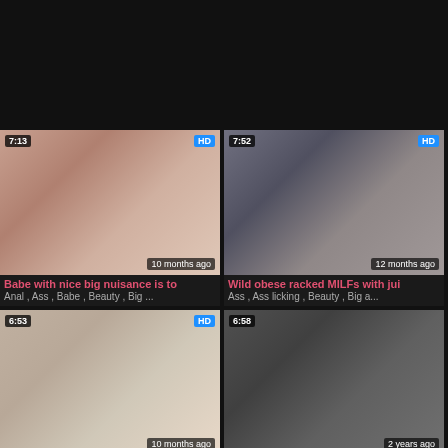[Figure (screenshot): Video thumbnail top-left: duration 7:13, HD badge, '10 months ago']
Babe with nice big nuisance is to
Anal , Ass , Babe , Beauty , Big ...
[Figure (screenshot): Video thumbnail top-right: duration 7:52, HD badge, '12 months ago']
Wild obese racked MILFs with jui
Ass , Ass licking , Beauty , Big a...
[Figure (screenshot): Video thumbnail bottom-left: duration 6:53, HD badge, '10 months ago']
[Figure (screenshot): Video thumbnail bottom-right: duration 6:58, '2 years ago']